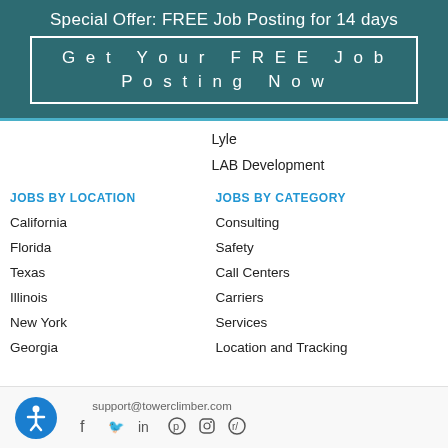Special Offer: FREE Job Posting for 14 days
Get Your FREE Job Posting Now
Lyle
LAB Development
JOBS BY LOCATION
JOBS BY CATEGORY
California
Florida
Texas
Illinois
New York
Georgia
Consulting
Safety
Call Centers
Carriers
Services
Location and Tracking
support@towerclimber.com